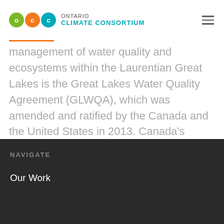Ontario Climate Consortium
management of water quality and ecosystems within the Laurentian Great Lakes is the Great Lakes Water Quality Agreement (GLWQA), which was amended and ratified by the Canada and the United States in 2013. Canada's commitments within the GLWQA…
NAVIGATE
Our Work